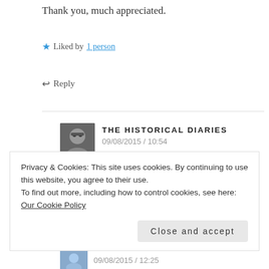Thank you, much appreciated.
★ Liked by 1 person
↩ Reply
THE HISTORICAL DIARIES 09/08/2015 / 10:54
No problem it was a wonderful and interesting article! I liked it very much and reblogged it under my featured post section, 😐 😐 😐
Privacy & Cookies: This site uses cookies. By continuing to use this website, you agree to their use.
To find out more, including how to control cookies, see here: Our Cookie Policy
Close and accept